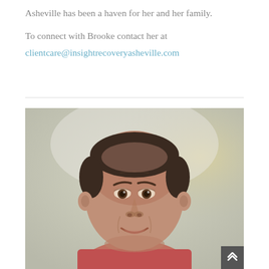Asheville has been a haven for her and her family.
To connect with Brooke contact her at clientcare@insightrecoveryasheville.com
[Figure (photo): Headshot portrait of a middle-aged man with short dark hair, smiling slightly, wearing a red shirt, against a blurred light background.]